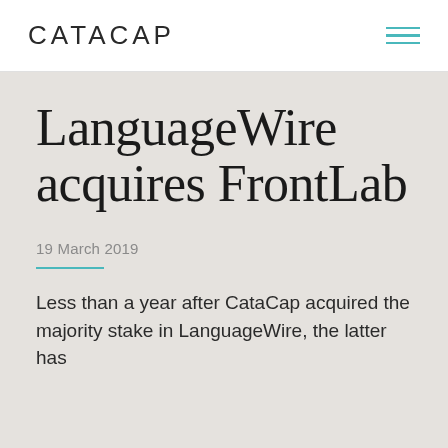CATACAP
LanguageWire acquires FrontLab
19 March 2019
Less than a year after CataCap acquired the majority stake in LanguageWire, the latter has